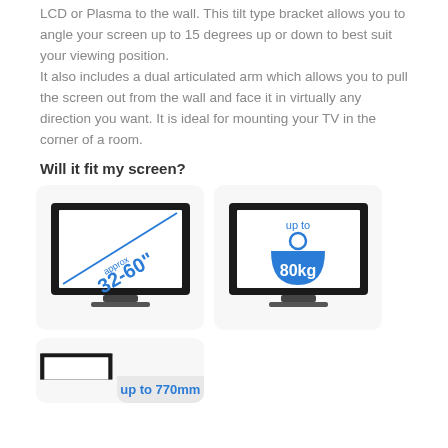LCD or Plasma to the wall. This tilt type bracket allows you to angle your screen up to 15 degrees up or down to best suit your viewing position. It also includes a dual articulated arm which allows you to pull the screen out from the wall and face it in virtually any direction you want. It is ideal for mounting your TV in the corner of a room.
Will it fit my screen?
[Figure (illustration): TV monitor with diagonal line and text 'approx 32-60"' indicating screen size range]
[Figure (illustration): TV monitor with weight icon and text 'up to 80kg' indicating maximum weight capacity]
[Figure (illustration): TV monitor with label 'up to 770mm' partially visible at bottom of page]